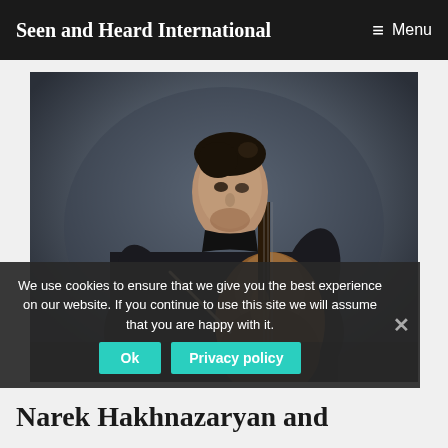Seen and Heard International   ≡ Menu
[Figure (photo): Black and white photograph of a young male cellist in a dark shirt, playing cello, photographed from a dramatic angle against a dark grey background]
We use cookies to ensure that we give you the best experience on our website. If you continue to use this site we will assume that you are happy with it.
Narek Hakhnazaryan and